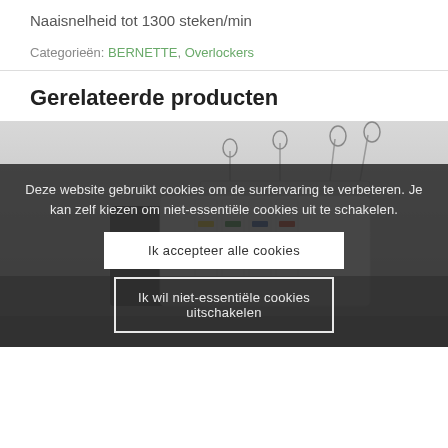Naaisnelheid tot 1300 steken/min
Categorieën: BERNETTE, Overlockers
Gerelateerde producten
[Figure (photo): Overlocker sewing machine (BERNETTE) shown from front/side, white body with colored thread guides, on a dark background]
Deze website gebruikt cookies om de surfervaring te verbeteren. Je kan zelf kiezen om niet-essentiële cookies uit te schakelen.
Ik accepteer alle cookies
Ik wil niet-essentiële cookies uitschakelen